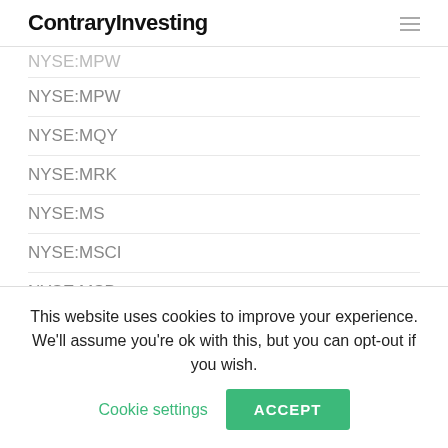ContraryInvesting
NYSE:MPW
NYSE:MQY
NYSE:MRK
NYSE:MS
NYSE:MSCI
NYSE:MSD
NYSE:MTN
NYSE:MUA
This website uses cookies to improve your experience. We'll assume you're ok with this, but you can opt-out if you wish. Cookie settings ACCEPT